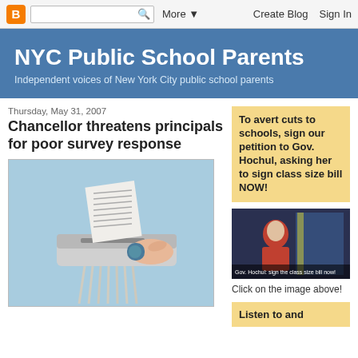B [Blogger logo] | [search box] | More ▼ | Create Blog | Sign In
NYC Public School Parents
Independent voices of New York City public school parents
Thursday, May 31, 2007
Chancellor threatens principals for poor survey response
[Figure (photo): A hand feeding a document into a paper shredder, against a light blue background]
To avert cuts to schools, sign our petition to Gov. Hochul, asking her to sign class size bill NOW!
[Figure (screenshot): Video thumbnail showing Gov. Hochul with caption 'Gov. Hochul: sign the class size bill now!']
Click on the image above!
Listen to and